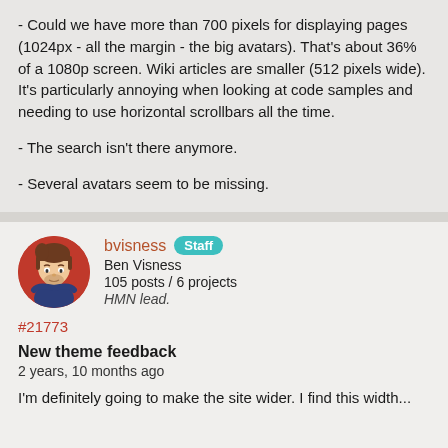- Could we have more than 700 pixels for displaying pages (1024px - all the margin - the big avatars). That's about 36% of a 1080p screen. Wiki articles are smaller (512 pixels wide). It's particularly annoying when looking at code samples and needing to use horizontal scrollbars all the time.
- The search isn't there anymore.
- Several avatars seem to be missing.
bvisness Staff
Ben Visness
105 posts / 6 projects
HMN lead.
#21773
New theme feedback
2 years, 10 months ago
I'm definitely going to make the site wider. I find this width...